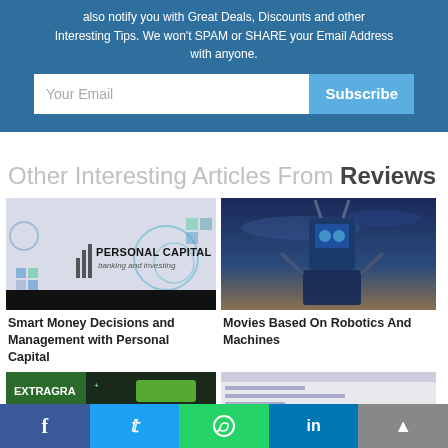also notify you with Great Deals, Discounts and other Interesting Tips. We won't SPAM or SHARE your Email Address with anyone.
Your Email
Subscribe
Other Interesting Articles From Reviews
[Figure (photo): Personal Capital banking and investing promotional image with dark header bar]
[Figure (photo): Blue robotic/mech warrior figure against stormy sky]
Smart Money Decisions and Management with Personal Capital
Movies Based On Robotics And Machines
[Figure (screenshot): Partial view of Extragra+ promotional image (green/dark)]
[Figure (screenshot): Partial view of a webpage screenshot]
Facebook  Twitter  WhatsApp  LinkedIn  Up